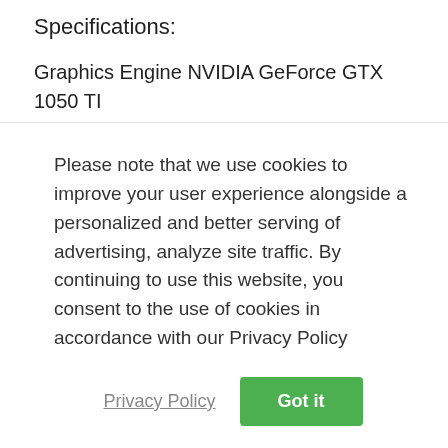Specifications:
Graphics Engine NVIDIA GeForce GTX 1050 TI
Bus Standard PCI Express 3.0
OpenGL OpenGL 4.5
Video Memory GDDR5 4GB
Engine Clock OC Mode - GPU Boost Clock : 1442 MHz, GPU Base Clock : 1328 MHz
Please note that we use cookies to improve your user experience alongside a personalized and better serving of advertising, analyze site traffic. By continuing to use this website, you consent to the use of cookies in accordance with our Privacy Policy
Privacy Policy
Got it